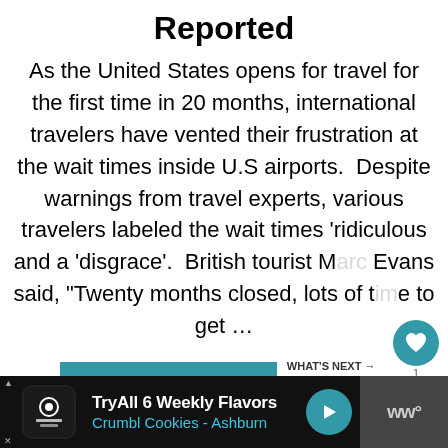Reported
As the United States opens for travel for the first time in 20 months, international travelers have vented their frustration at the wait times inside U.S airports.  Despite warnings from travel experts, various travelers labeled the wait times 'ridiculous and a 'disgrace'.  British tourist Marc Evans said, "Twenty months closed, lots of time to get …
[Figure (other): READ MORE button (teal rectangle)]
[Figure (other): WHAT'S NEXT section with thumbnail image and text 'Curaçao Reopening T...']
[Figure (other): Advertisement bar: Try All 6 Weekly Flavors / Crumbl Cookies - Ashburn with navigation icon and WW logo]